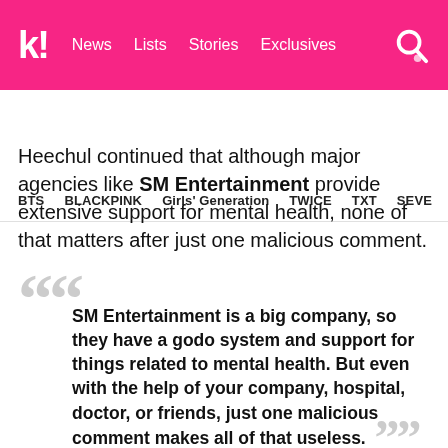k! News  Lists  Stories  Exclusives
BTS   BLACKPINK   Girls' Generation   TWICE   TXT   SEVE
Heechul continued that although major agencies like SM Entertainment provide extensive support for mental health, none of that matters after just one malicious comment.
SM Entertainment is a big company, so they have a godo system and support for things related to mental health. But even with the help of your company, hospital, doctor, or friends, just one malicious comment makes all of that useless. – Heechul